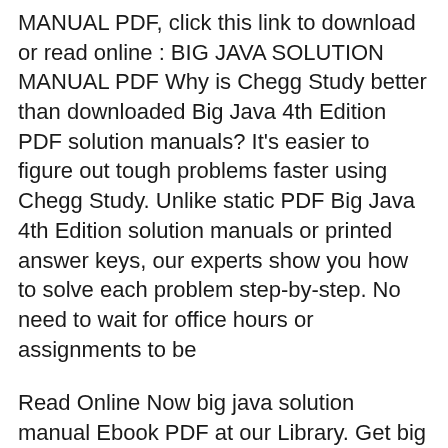MANUAL PDF, click this link to download or read online : BIG JAVA SOLUTION MANUAL PDF Why is Chegg Study better than downloaded Big Java 4th Edition PDF solution manuals? It's easier to figure out tough problems faster using Chegg Study. Unlike static PDF Big Java 4th Edition solution manuals or printed answer keys, our experts show you how to solve each problem step-by-step. No need to wait for office hours or assignments to be
Read Online Now big java solution manual Ebook PDF at our Library. Get big java solution manual PDF file for free from our online library PDF File: big java solution manual. Here is the access